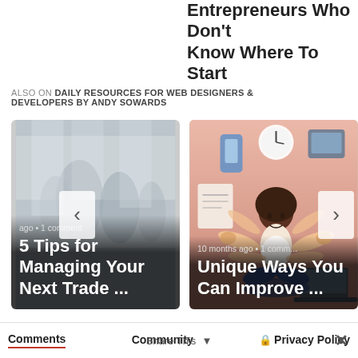Entrepreneurs Who Don't Know Where To Start
ALSO ON DAILY RESOURCES FOR WEB DESIGNERS & DEVELOPERS BY ANDY SOWARDS
[Figure (photo): Blurry photo of people in an indoor space, card with title '5 Tips for Managing Your Next Trade ...' and meta '... ago • 1 comment']
[Figure (illustration): Illustrated image of a woman meditating in a pink/salmon background with floating tech devices, card with title 'Unique Ways You Can Improve ...' and meta '10 months ago • 1 comm...']
Comments  Community  Privacy Policy  Share This  ✕